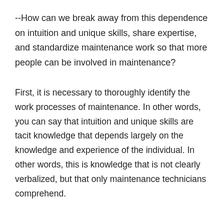--How can we break away from this dependence on intuition and unique skills, share expertise, and standardize maintenance work so that more people can be involved in maintenance?
First, it is necessary to thoroughly identify the work processes of maintenance. In other words, you can say that intuition and unique skills are tacit knowledge that depends largely on the knowledge and experience of the individual. In other words, this is knowledge that is not clearly verbalized, but that only maintenance technicians comprehend.